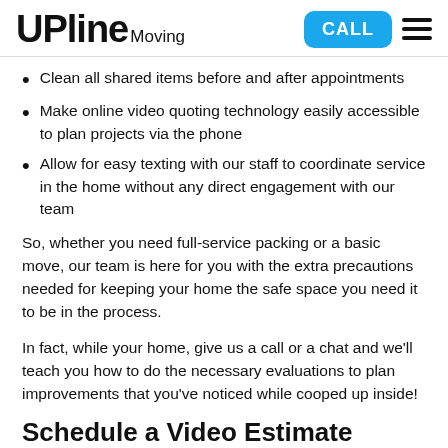UPline Moving — CALL navigation header
Clean all shared items before and after appointments
Make online video quoting technology easily accessible to plan projects via the phone
Allow for easy texting with our staff to coordinate service in the home without any direct engagement with our team
So, whether you need full-service packing or a basic move, our team is here for you with the extra precautions needed for keeping your home the safe space you need it to be in the process.
In fact, while your home, give us a call or a chat and we'll teach you how to do the necessary evaluations to plan improvements that you've noticed while cooped up inside!
Schedule a Video Estimate
Your move can't wait — work with the safe movers who put